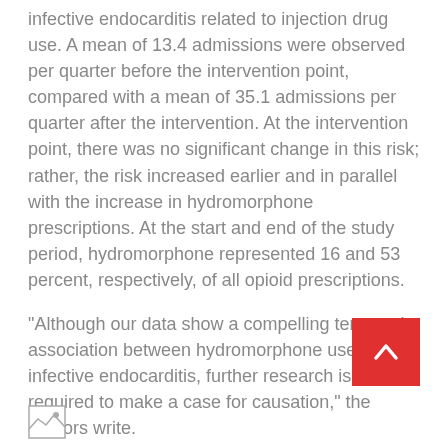infective endocarditis related to injection drug use. A mean of 13.4 admissions were observed per quarter before the intervention point, compared with a mean of 35.1 admissions per quarter after the intervention. At the intervention point, there was no significant change in this risk; rather, the risk increased earlier and in parallel with the increase in hydromorphone prescriptions. At the start and end of the study period, hydromorphone represented 16 and 53 percent, respectively, of all opioid prescriptions.
“Although our data show a compelling temporal association between hydromorphone use and infective endocarditis, further research is required to make a case for causation,” the authors write.
Abstract/Full Text
[Figure (other): Small image thumbnail/placeholder at bottom left]